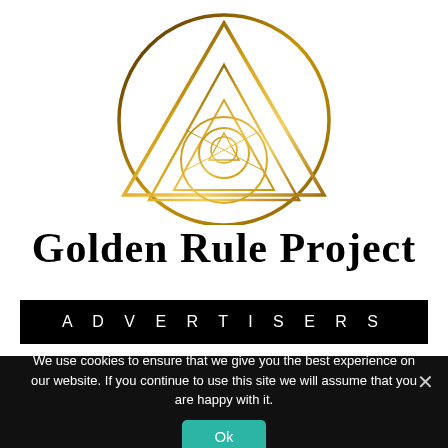[Figure (logo): Golden Rule Project logo: geometric sacred geometry symbol — a circle containing a triangle with inner triangles and circles, rendered in gold gradient tones on white background]
Golden Rule Project
ADVERTISERS
We use cookies to ensure that we give you the best experience on our website. If you continue to use this site we will assume that you are happy with it.